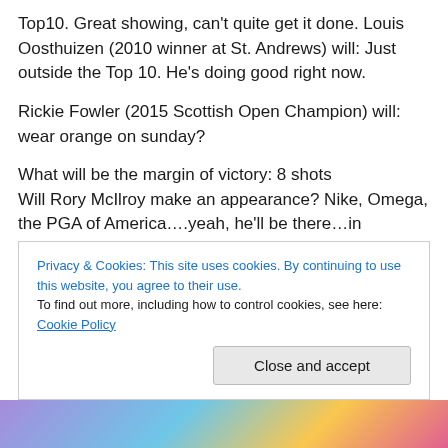Top10. Great showing, can't quite get it done. Louis Oosthuizen (2010 winner at St. Andrews) will: Just outside the Top 10. He's doing good right now.
Rickie Fowler (2015 Scottish Open Champion) will: wear orange on sunday? What will be the margin of victory: 8 shots Will Rory McIlroy make an appearance? Nike, Omega, the PGA of America….yeah, he'll be there…in recording at least.
Privacy & Cookies: This site uses cookies. By continuing to use this website, you agree to their use. To find out more, including how to control cookies, see here: Cookie Policy
[Figure (illustration): Colorful illustrated image at the bottom of the page, partially visible, showing animated or cartoon-style figures in purple, blue, yellow and pink colors.]